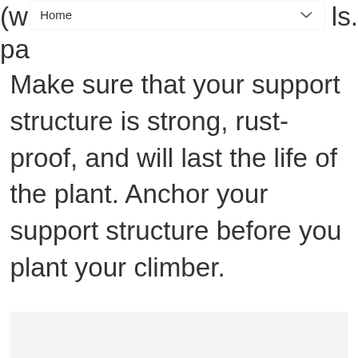Home
Make sure that your support structure is strong, rust-proof, and will last the life of the plant. Anchor your support structure before you plant your climber.
[Figure (photo): Grey placeholder image area with three navigation dots at the bottom center and a teal heart/like button, a count of 1, and a share button on the right side.]
WHAT'S NEXT → How to grow a pea plant fro...